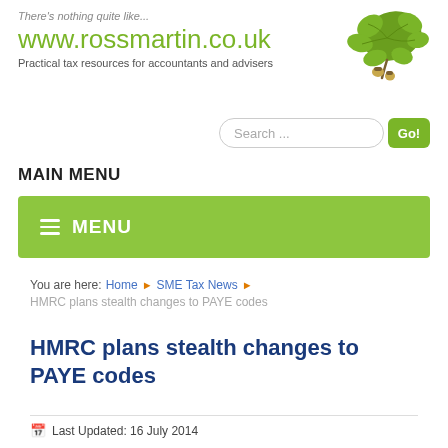There's nothing quite like... www.rossmartin.co.uk Practical tax resources for accountants and advisers
[Figure (illustration): Green oak leaf with acorns illustration in top right corner]
Search ...
MAIN MENU
[Figure (infographic): Green menu bar with hamburger icon and MENU text]
You are here: Home ▶ SME Tax News ▶
HMRC plans stealth changes to PAYE codes
HMRC plans stealth changes to PAYE codes
Last Updated: 16 July 2014